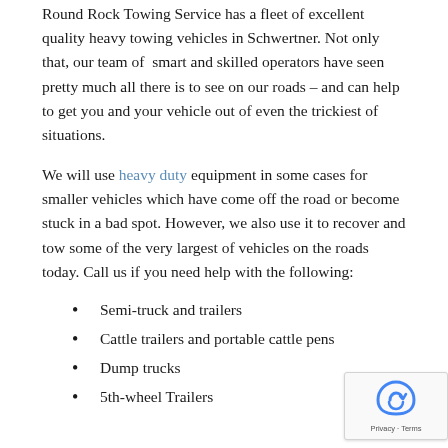Round Rock Towing Service has a fleet of excellent quality heavy towing vehicles in Schwertner. Not only that, our team of smart and skilled operators have seen pretty much all there is to see on our roads – and can help to get you and your vehicle out of even the trickiest of situations.
We will use heavy duty equipment in some cases for smaller vehicles which have come off the road or become stuck in a bad spot. However, we also use it to recover and tow some of the very largest of vehicles on the roads today. Call us if you need help with the following:
Semi-truck and trailers
Cattle trailers and portable cattle pens
Dump trucks
5th-wheel Trailers